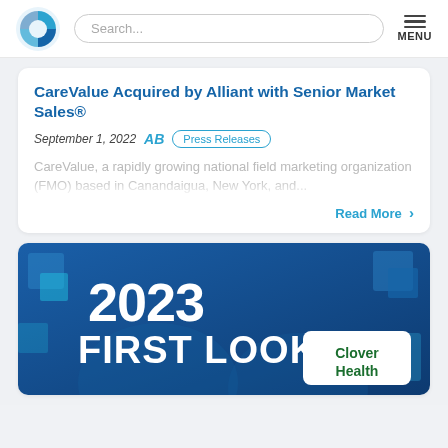Logo | Search... | MENU
CareValue Acquired by Alliant with Senior Market Sales®
September 1, 2022   AB   Press Releases
CareValue, a rapidly growing national field marketing organization (FMO) based in Canandaigua, New York, and...
Read More >
[Figure (photo): 2023 First Look banner with Clover Health logo on blue background with geometric squares]